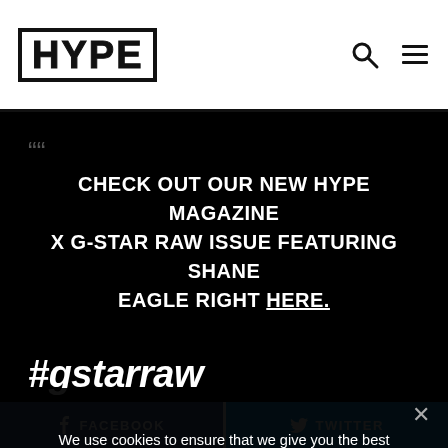HYPE
CHECK OUT OUR NEW HYPE MAGAZINE X G-STAR RAW ISSUE FEATURING SHANE EAGLE RIGHT HERE.
#gstarraw #hardcoredenim
FACEBOOK
TWITTER
We use cookies to ensure that we give you the best experience on our website. If you continue to use this site we will assume that you are happy with it.
Ok   Privacy policy